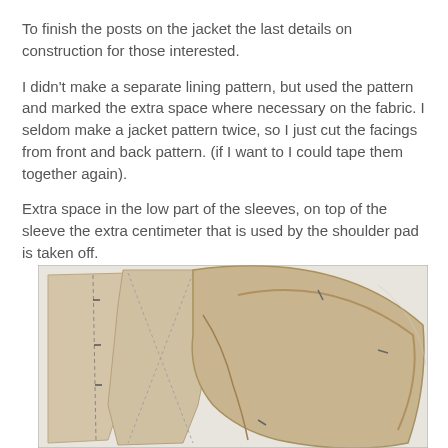To finish the posts on the jacket the last details on construction for those interested.
I didn't make a separate lining pattern, but used the pattern and marked the extra space where necessary on the fabric. I seldom make a jacket pattern twice, so I just cut the facings from front and back pattern. (if I want to I could tape them together again).
Extra space in the low part of the sleeves, on top of the sleeve the extra centimeter that is used by the shoulder pad is taken off.
[Figure (photo): A photograph showing jacket sewing pattern pieces laid flat on a surface, including fabric pieces and pattern paper showing construction details of sleeves and facings.]